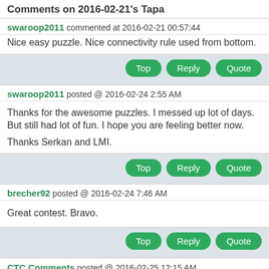Comments on 2016-02-21's Tapa
swaroop2011 commented at 2016-02-21 00:57:44
Nice easy puzzle. Nice connectivity rule used from bottom.
Top  Reply  Quote
swaroop2011 posted @ 2016-02-24 2:55 AM
Thanks for the awesome puzzles. I messed up lot of days. But still had lot of fun. I hope you are feeling better now.

Thanks Serkan and LMI.
Top  Reply  Quote
brecher92 posted @ 2016-02-24 7:46 AM
Great contest. Bravo.
Top  Reply  Quote
CTC Comments posted @ 2016-02-25 12:15 AM